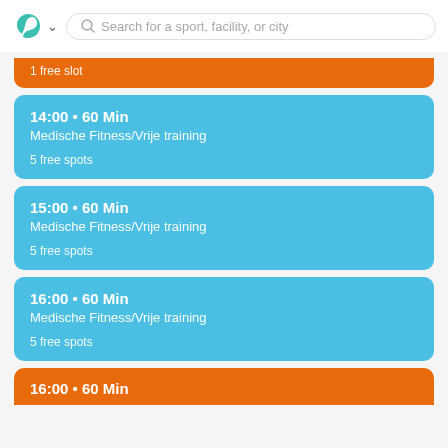Search for a sport, facility, or city
1 free slot
14:00 • 60 Min
Medische Fitness/Vrije training
5 free spots
15:00 • 60 Min
Medische Fitness/Vrije training
5 free spots
16:00 • 60 Min
Medische Fitness/Vrije training
5 free spots
16:00 • 60 Min